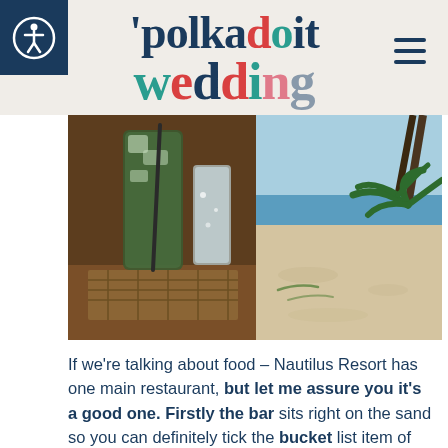polkadot wedding
[Figure (photo): Two photos side by side: left shows a tall mojito cocktail glass with mint leaves and a straw on a wooden table; right shows a tropical beach with white sand, turquoise water, and palm trees.]
If we're talking about food – Nautilus Resort has one main restaurant, but let me assure you it's a good one. Firstly the bar sits right on the sand so you can definitely tick the bucket list item of drinking cocktails under a palm tree off the list (And just a top tip? Their mojito is one of the best I have ever tried). We would often drift inside to the main restaurant for dinner after enjoying the bar's happy hour and settle